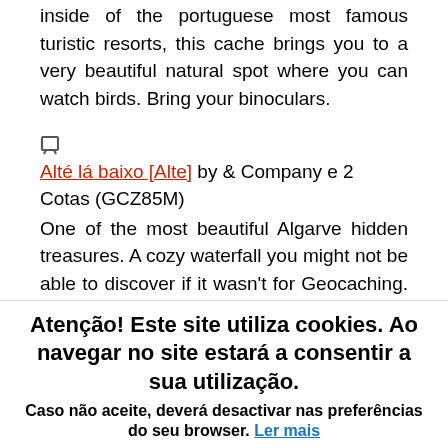inside of the portuguese most famous turistic resorts, this cache brings you to a very beautiful natural spot where you can watch birds. Bring your binoculars.
Alté lá baixo [Alte] by & Company e 2 Cotas (GCZ85M)
One of the most beautiful Algarve hidden treasures. A cozy waterfall you might not be able to discover if it wasn't for Geocaching. Bring your swim suite.
Escadinhas - Carvoeiro by matela & cabritomontez (GCWKCV)
Another wonderful hidden spot of our rugged coast, you can discover thanks to Geocaching. Impressive the mother nature's art work.
Atenção! Este site utiliza cookies. Ao navegar no site estará a consentir a sua utilização. Caso não aceite, deverá desactivar nas preferências do seu browser. Ler mais